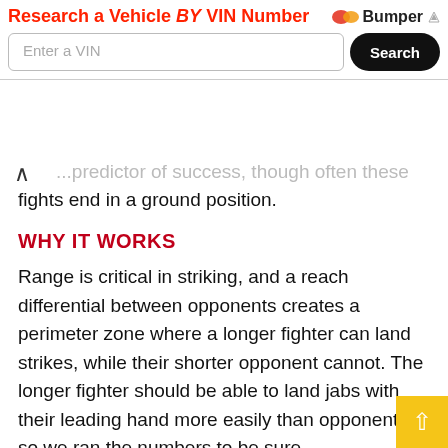[Figure (screenshot): Advertisement banner: 'Research a Vehicle BY VIN Number' with Bumper logo, VIN input field, and Search button]
…predictor of success, though often these fights end in a ground position.
WHY IT WORKS
Range is critical in striking, and a reach differential between opponents creates a perimeter zone where a longer fighter can land strikes, while their shorter opponent cannot. The longer fighter should be able to land jabs with their leading hand more easily than opponents, so we ran the numbers to be sure.
While we're at it, we also know the knockout potential of longer arms in striking is higher